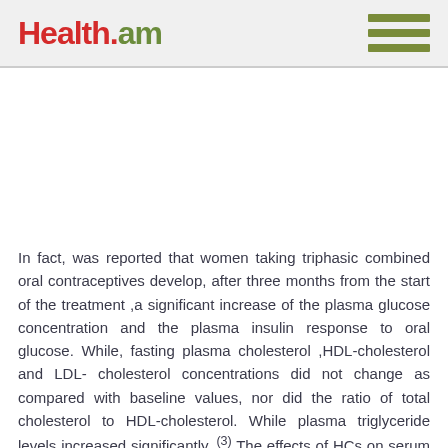Health.am
In fact, was reported that women taking triphasic combined oral contraceptives develop, after three months from the start of the treatment ,a significant increase of the plasma glucose concentration and the plasma insulin response to oral glucose. While, fasting plasma cholesterol ,HDL-cholesterol and LDL- cholesterol concentrations did not change as compared with baseline values, nor did the ratio of total cholesterol to HDL-cholesterol. While plasma triglyceride levels increased significantly. (3) The effects of HCs on serum lipid levels depend on the dose of